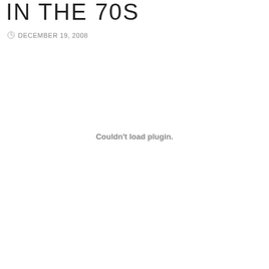IN THE 70S
DECEMBER 19, 2008
Couldn't load plugin.